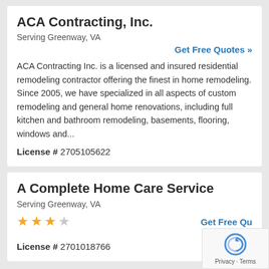ACA Contracting, Inc.
Serving Greenway, VA
Get Free Quotes »
ACA Contracting Inc. is a licensed and insured residential remodeling contractor offering the finest in home remodeling. Since 2005, we have specialized in all aspects of custom remodeling and general home renovations, including full kitchen and bathroom remodeling, basements, flooring, windows and...
License # 2705105622
A Complete Home Care Service
Serving Greenway, VA
★★★☆ (3 out of 5 stars)
Get Free Qu...
License # 2701018766